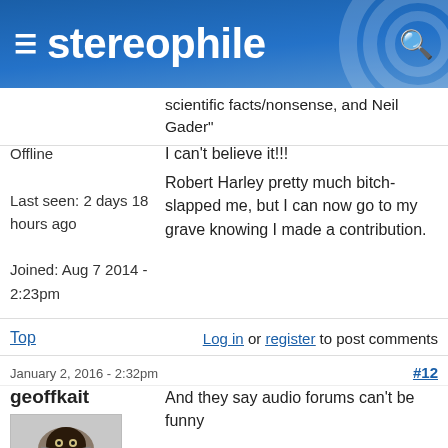stereophile
scientific facts/nonsense, and Neil Gader"
I can't believe it!!!
Offline
Last seen: 2 days 18 hours ago
Joined: Aug 7 2014 - 2:23pm
Robert Harley pretty much bitch-slapped me, but I can now go to my grave knowing I made a contribution.
Top
Log in or register to post comments
January 2, 2016 - 2:32pm
#12
geoffkait
And they say audio forums can't be funny
[Figure (photo): Avatar image for user geoffkait showing a small dark fluffy object on a light background]